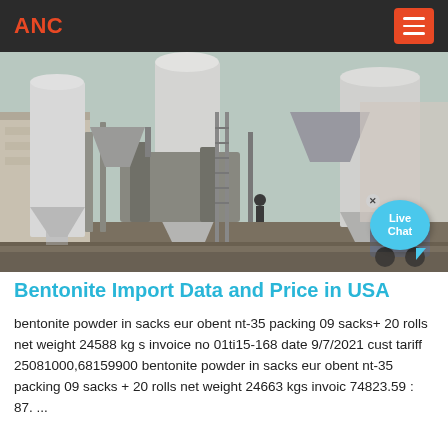ANC
[Figure (photo): Industrial bentonite processing facility with large silos, conveyors, and mixing equipment in an outdoor setting. A 'Live Chat' bubble is visible in the bottom-right corner.]
Bentonite Import Data and Price in USA
bentonite powder in sacks eur obent nt-35 packing 09 sacks+ 20 rolls net weight 24588 kg s invoice no 01ti15-168 date 9/7/2021 cust tariff 25081000,68159900 bentonite powder in sacks eur obent nt-35 packing 09 sacks + 20 rolls net weight 24663 kgs invoic 74823.59 : 87. ...